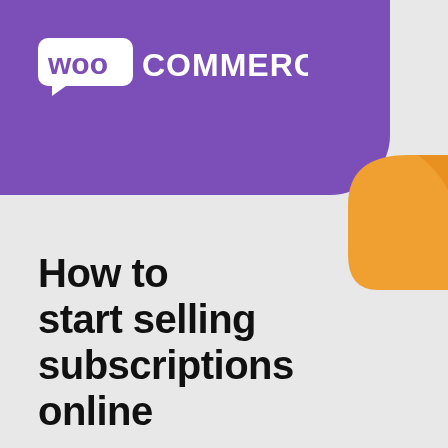[Figure (logo): WooCommerce logo on purple banner with orange decorative shape]
How to start selling subscriptions online
Advertisements
[Figure (illustration): DuckDuckGo advertisement banner: Search, browse, and email with more privacy. All in One Free App. Shows DuckDuckGo logo on a smartphone on an orange background.]